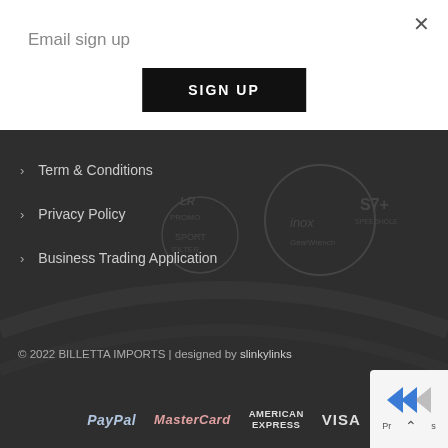×
Email sign up
SIGN UP
> Term & Conditions
> Privacy Policy
> Business Trading Application
© 2022 BILLETTA IMPORTS | designed by slinkylinks
[Figure (logo): Payment logos: PayPal, MasterCard, American Express, VISA]
[Figure (screenshot): Small popup corner widget with arrows logo and navigation arrows]